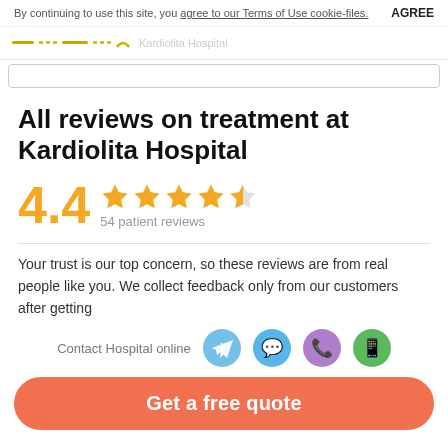By continuing to use this site, you agree to our Terms of Use cookie-files. AGREE
All reviews on treatment at Kardiolita Hospital
4.4 ★★★★½ 54 patient reviews
Your trust is our top concern, so these reviews are from real people like you. We collect feedback only from our customers after getting
Contact Hospital online
Get a free quote